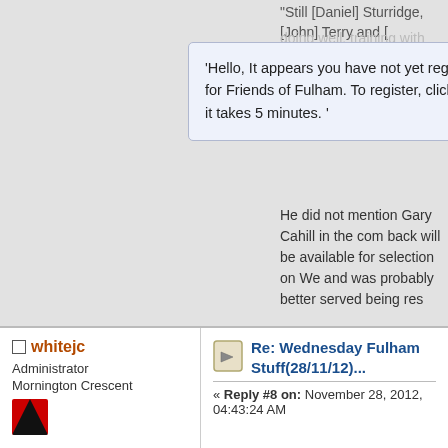"Still [Daniel] Sturridge, [John] Terry and ...
'Hello, It appears you have not yet registered for Friends of Fulham. To register, click here, it takes 5 minutes. '
He did not mention Gary Cahill in the com... back will be available for selection on We... and was probably better served being res...
Unfortunately, the injury to Sturridge likely... for the woefully out of form Fernando Torr... and start either Victor Moses or Eden Haz... would expect to see Torres given another... of usefulness.
http://www.weaintgotnohistory.com/2012/... frank-lampard-ijury-chelsea-fulham?
whitejc
Administrator
Mornington Crescent
Re: Wednesday Fulham Stuff(28/11/12)...
« Reply #8 on: November 28, 2012, 04:43:24 AM